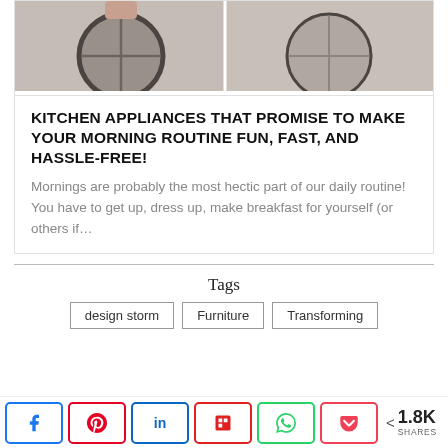[Figure (photo): Two side-by-side photos of a round kitchen appliance (sphere-shaped device) on a white countertop, shown from slightly different angles]
KITCHEN APPLIANCES THAT PROMISE TO MAKE YOUR MORNING ROUTINE FUN, FAST, AND HASSLE-FREE!
Mornings are probably the most hectic part of our daily routine! You have to get up, dress up, make breakfast for yourself (or others if...
Tags
design storm
Furniture
Transforming